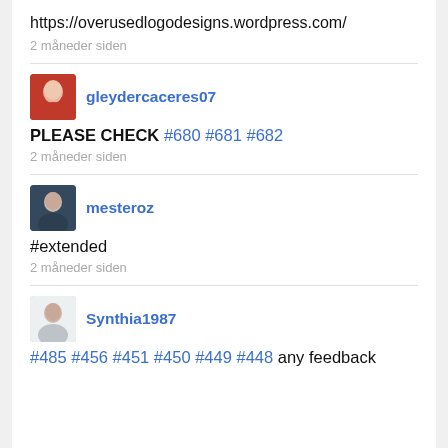https://overusedlogodesigns.wordpress.com/
2 måneder siden
gleydercaceres07
PLEASE CHECK #680 #681 #682
2 måneder siden
mesteroz
#extended
2 måneder siden
Synthia1987
#485 #456 #451 #450 #449 #448 any feedback